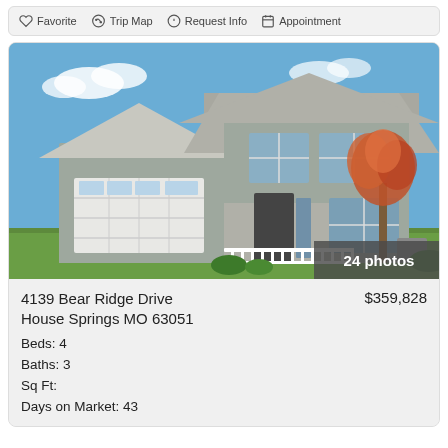Favorite  Trip Map  Request Info  Appointment
[Figure (photo): Front exterior of a two-story gray house with white garage door, covered porch with white railing, autumn tree, and green lawn. Badge reads '24 photos'.]
4139 Bear Ridge Drive
House Springs MO 63051
Beds: 4
Baths: 3
Sq Ft:
Days on Market: 43
$359,828